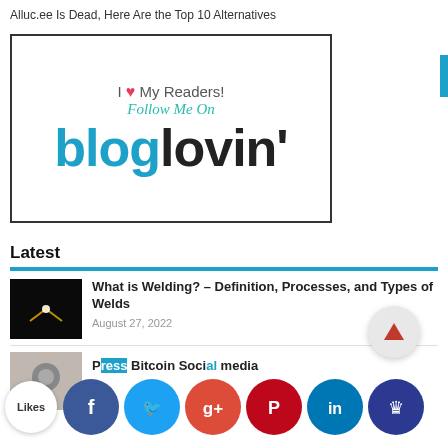Alluc.ee Is Dead, Here Are the Top 10 Alternatives
[Figure (logo): Bloglovin logo banner with text 'I ❤ My Readers! Follow Me On bloglovin']
Latest
What is Welding? – Definition, Processes, and Types of Welds
August 27, 2022
Press Bitcoin Soci media
[Figure (infographic): Social media sharing buttons: Facebook, Twitter, Google+, Pinterest, LinkedIn, Crown; Likes badge; scroll-up arrow button]